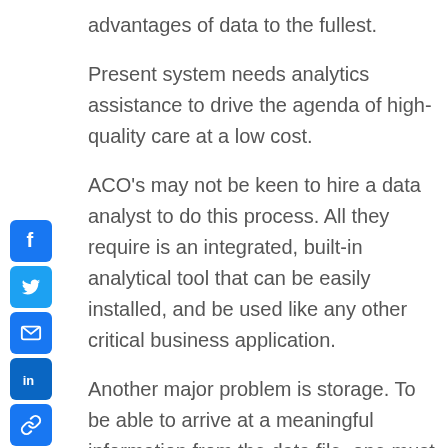advantages of data to the fullest.
Present system needs analytics assistance to drive the agenda of high-quality care at a low cost.
ACO's may not be keen to hire a data analyst to do this process. All they require is an integrated, built-in analytical tool that can be easily installed, and be used like any other critical business application.
Another major problem is storage. To be able to arrive at a meaningful information from the data file, one must ensure collected data set covers a lot of ground data including provider, physician details along with the patient, and has to compatible to data warehouse it. Some